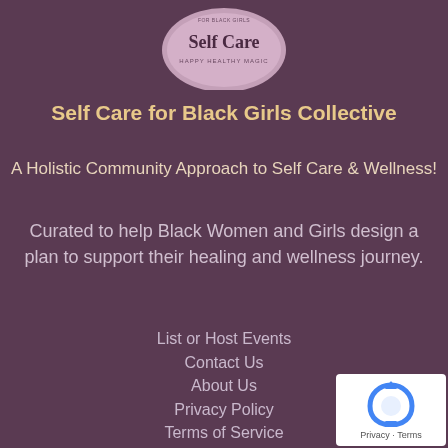[Figure (logo): Self Care for Black Girls Collective circular logo with pink/mauve background]
Self Care for Black Girls Collective
A Holistic Community Approach to Self Care & Wellness!
Curated to help Black Women and Girls design a plan to support their healing and wellness journey.
List or Host Events
Contact Us
About Us
Privacy Policy
Terms of Service
[Figure (logo): reCAPTCHA badge with Privacy and Terms links]